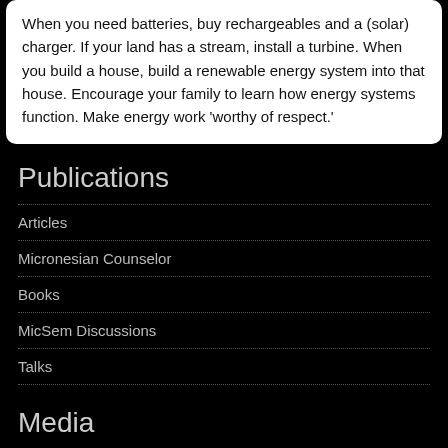When you need batteries, buy rechargeables and a (solar) charger. If your land has a stream, install a turbine. When you build a house, build a renewable energy system into that house. Encourage your family to learn how energy systems function. Make energy work 'worthy of respect.'
Publications
Articles
Micronesian Counselor
Books
MicSem Discussions
Talks
Media
Videos
Video Listing